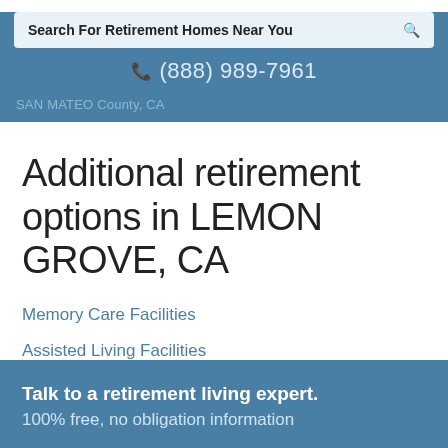Search For Retirement Homes Near You
☎ (888) 989-7961
SAN MATEO County, CA
Additional retirement options in LEMON GROVE, CA
Memory Care Facilities
Assisted Living Facilities
Talk to a retirement living expert. 100% free, no obligation information